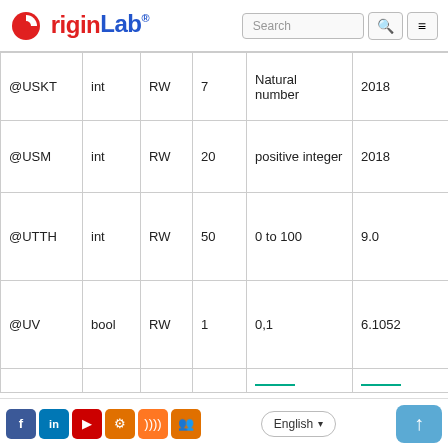OriginLab® — Search navigation header
|  | int/bool | RW | default | range/type | version |
| --- | --- | --- | --- | --- | --- |
| @USKT | int | RW | 7 | Natural number | 2018 |
| @USM | int | RW | 20 | positive integer | 2018 |
| @UTTH | int | RW | 50 | 0 to 100 | 9.0 |
| @UV | bool | RW | 1 | 0,1 | 6.1052 |
Social icons: Facebook, LinkedIn, YouTube, Settings, RSS, Group | Language: English | Back to top